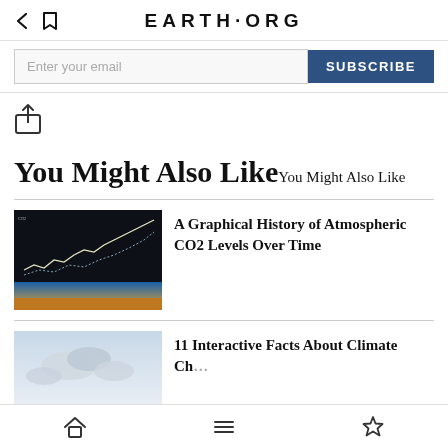EARTH·ORG
Enter your email  SUBSCRIBE
[Figure (screenshot): Share icon (upload/export symbol)]
You Might Also Like You Might Also Like
[Figure (photo): Thumbnail image of atmospheric CO2 chart showing historical data on a dark background with a blue sky horizon at the bottom]
A Graphical History of Atmospheric CO2 Levels Over Time
[Figure (photo): Thumbnail image of sky with clouds]
Home  Menu  Bookmark